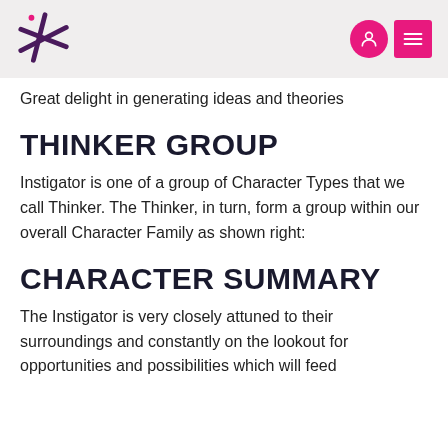[Logo and navigation icons]
Great delight in generating ideas and theories
THINKER GROUP
Instigator is one of a group of Character Types that we call Thinker. The Thinker, in turn, form a group within our overall Character Family as shown right:
CHARACTER SUMMARY
The Instigator is very closely attuned to their surroundings and constantly on the lookout for opportunities and possibilities which will feed